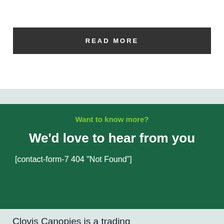READ MORE
Want to know more?
We'd love to hear from you
[contact-form-7 404 "Not Found"]
Clovis Canopies is a trading division of Christopher Associates